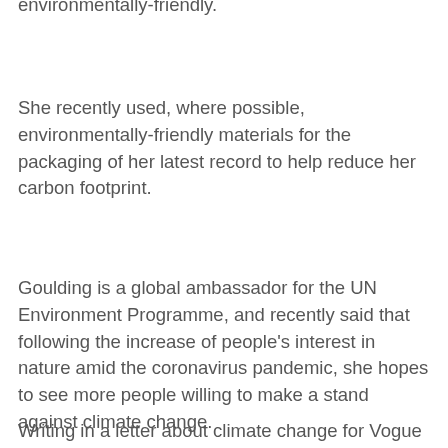environmentally-friendly.
She recently used, where possible, environmentally-friendly materials for the packaging of her latest record to help reduce her carbon footprint.
Goulding is a global ambassador for the UN Environment Programme, and recently said that following the increase of people's interest in nature amid the coronavirus pandemic, she hopes to see more people willing to make a stand against climate change.
Writing in a letter about climate change for Vogue